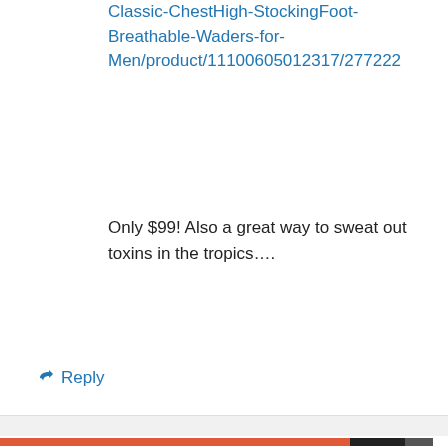Classic-ChestHigh-StockingFoot-Breathable-Waders-for-Men/product/11100605012317/277222
Only $99! Also a great way to sweat out toxins in the tropics....
↳ Reply
Doug Inglis: divingarchaeology.com on February 25, 2012 at 2:39 pm
Privacy & Cookies: This site uses cookies. By continuing to use this website, you agree to their use.
To find out more, including how to control cookies, see here: Cookie Policy
Close and accept